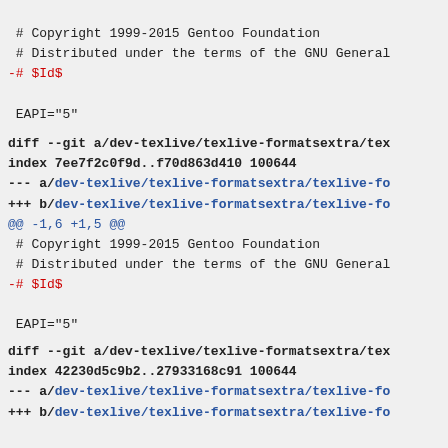# Copyright 1999-2015 Gentoo Foundation
 # Distributed under the terms of the GNU General
-# $Id$

 EAPI="5"
diff --git a/dev-texlive/texlive-formatsextra/tex
index 7ee7f2c0f9d..f70d863d410 100644
--- a/dev-texlive/texlive-formatsextra/texlive-fo
+++ b/dev-texlive/texlive-formatsextra/texlive-fo
@@ -1,6 +1,5 @@
 # Copyright 1999-2015 Gentoo Foundation
 # Distributed under the terms of the GNU General
-# $Id$

 EAPI="5"
diff --git a/dev-texlive/texlive-formatsextra/tex
index 42230d5c9b2..27933168c91 100644
--- a/dev-texlive/texlive-formatsextra/texlive-fo
+++ b/dev-texlive/texlive-formatsextra/texlive-fo